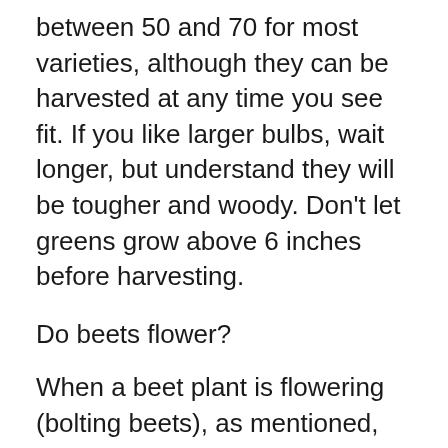between 50 and 70 for most varieties, although they can be harvested at any time you see fit. If you like larger bulbs, wait longer, but understand they will be tougher and woody. Don't let greens grow above 6 inches before harvesting.
Do beets flower?
When a beet plant is flowering (bolting beets), as mentioned, the energy of the plant is no longer being directed into the root. Rather, the energy is being diverted into the flower, followed by the beets going to seed. Plant the seeds at a depth of between ¼ and ½ inch.
…